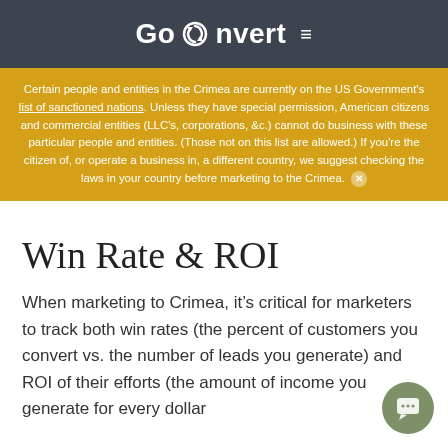GoConvert
Certain people and entities in the Crimea are currently on the US Government's list of sanctioned nations. Unless they have special permission, American citizens and commercial entities (LLC's, corporations, &c.) cannot do business with these particular people and entities. (Those not on this list are allowed.) If you're the citizen of, or operate a business in, a different country, we suggest checking the laws in your country before marketing to the Crimea.
Win Rate & ROI
When marketing to Crimea, it's critical for marketers to track both win rates (the percent of customers you convert vs. the number of leads you generate) and ROI of their efforts (the amount of income you generate for every dollar